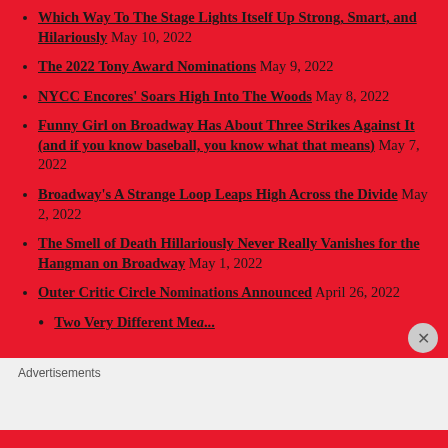Which Way To The Stage Lights Itself Up Strong, Smart, and Hilariously May 10, 2022
The 2022 Tony Award Nominations May 9, 2022
NYCC Encores' Soars High Into The Woods May 8, 2022
Funny Girl on Broadway Has About Three Strikes Against It (and if you know baseball, you know what that means) May 7, 2022
Broadway's A Strange Loop Leaps High Across the Divide May 2, 2022
The Smell of Death Hillariously Never Really Vanishes for the Hangman on Broadway May 1, 2022
Outer Critic Circle Nominations Announced April 26, 2022
Two Very Different Mea...
Advertisements